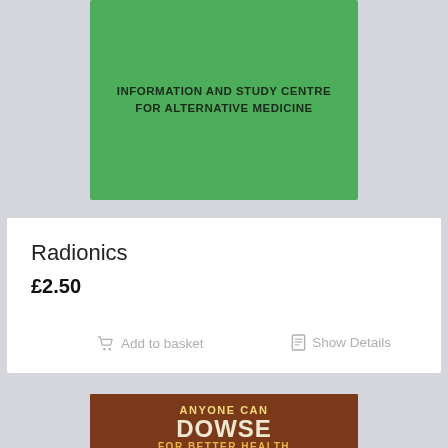[Figure (photo): Book cover for 'Information and Study Centre for Alternative Medicine' on a green background]
Radionics
£2.50
Add to basket   Show Details
[Figure (photo): Book cover for 'Anyone Can Dowse For Better Health' with crystal/pendulum on dark background]